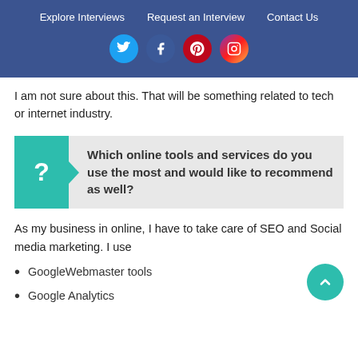Explore Interviews | Request an Interview | Contact Us
I am not sure about this. That will be something related to tech or internet industry.
Which online tools and services do you use the most and would like to recommend as well?
As my business in online, I have to take care of SEO and Social media marketing. I use
GoogleWebmaster tools
Google Analytics